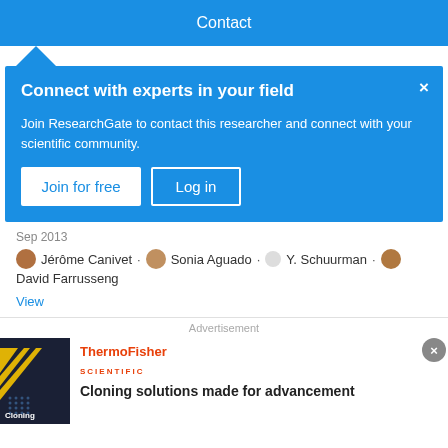Contact
Connect with experts in your field
Join ResearchGate to contact this researcher and connect with your scientific community.
Join for free  Log in
Sep 2013
Jérôme Canivet · Sonia Aguado · Y. Schuurman · David Farrusseng
View
Advertisement
[Figure (photo): ThermoFisher Scientific advertisement with dark blue background showing diagonal yellow stripes and 'Cloning' text, promoting cloning solutions]
Cloning solutions made for advancement